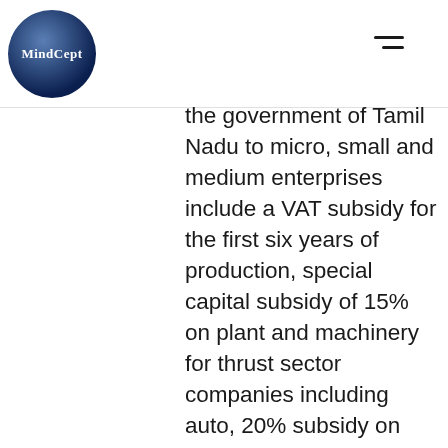MindCept
the government of Tamil Nadu to micro, small and medium enterprises include a VAT subsidy for the first six years of production, special capital subsidy of 15% on plant and machinery for thrust sector companies including auto, 20% subsidy on power consumption for first 36 months, 50% rebate on stamp duty and registration charges,15% plant and machinery value as subsidy for thrust sectors like auto and 3% of interest on term loans for technology upgradation and modernisation among oth